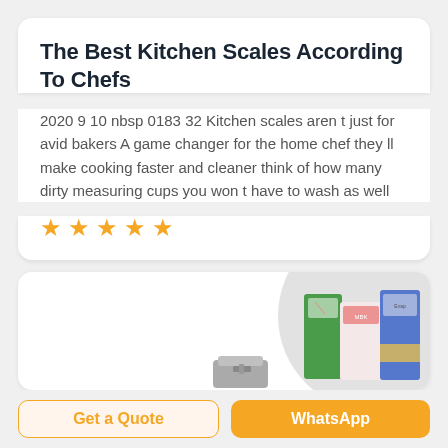The Best Kitchen Scales According To Chefs
2020 9 10 nbsp 0183 32 Kitchen scales aren t just for avid bakers A game changer for the home chef they ll make cooking faster and cleaner think of how many dirty measuring cups you won t have to wash as well
[Figure (other): Five orange star rating icons]
[Figure (photo): Product image showing kitchen scale equipment and food packaging boxes in a circular gray background]
Get a Quote
WhatsApp